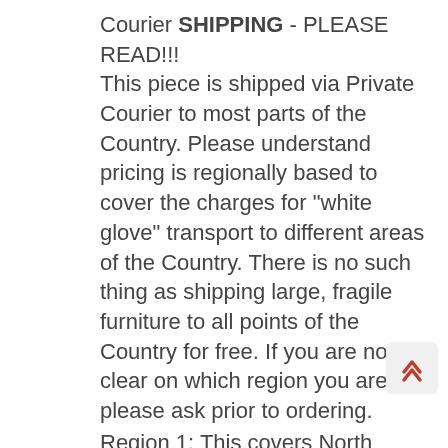Courier SHIPPING - PLEASE READ!!!
This piece is shipped via Private Courier to most parts of the Country. Please understand pricing is regionally based to cover the charges for "white glove" transport to different areas of the Country. There is no such thing as shipping large, fragile furniture to all points of the Country for free. If you are not clear on which region you are in please ask prior to ordering.
Region 1: This covers North Jersey, CT, RI, NYC, Brooklyn and Queens
Region 2: This covers South Jersey, Philly, MD, DE, DC, and MA
Region 3: NH, VT, ME
Region 4: NY state other than the city, PA, OH, MI, IN, KY, TN, IL, IA, MO and lower WI incluc Green Bay and Madison
Region 5: VA, WV, NC, SC, GA, FL